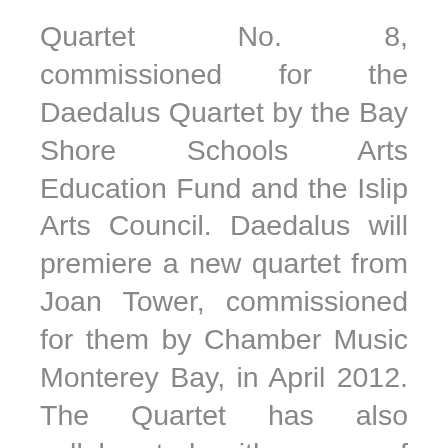Quartet No. 8, commissioned for the Daedalus Quartet by the Bay Shore Schools Arts Education Fund and the Islip Arts Council. Daedalus will premiere a new quartet from Joan Tower, commissioned for them by Chamber Music Monterey Bay, in April 2012. The Quartet has also collaborated with some of the world's finest instrumentalists: these include pianists Marc-André Hamelin, Simone Dinnerstein, Awadagin Pratt, Joyce Yang, and Benjamin Hochman; clarinetists Paquito D'Rivera,